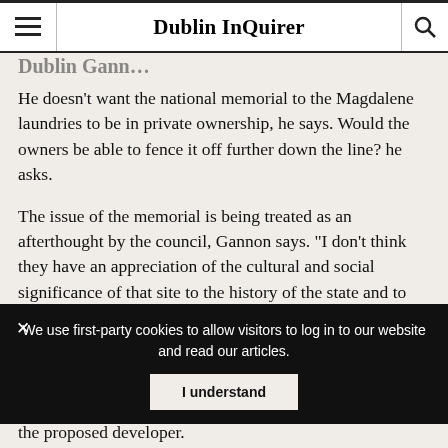Dublin InQuirer
He doesn't want the national memorial to the Magdalene laundries to be in private ownership, he says. Would the owners be able to fence it off further down the line? he asks.
The issue of the memorial is being treated as an afterthought by the council, Gannon says. “I don’t think they have an appreciation of the cultural and social significance of that site to the history of the state and to the trauma that occurred to many women there,” he says.
We use first-party cookies to allow visitors to log in to our website and read our articles.
the proposed developer.